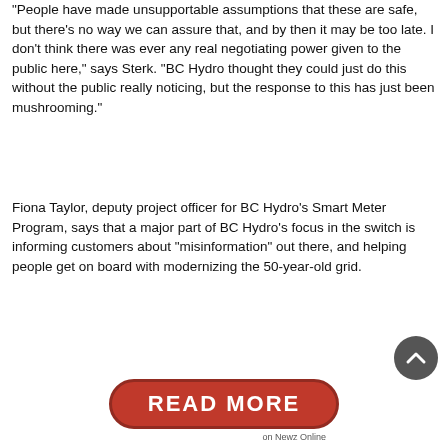“People have made unsupportable assumptions that these are safe, but there’s no way we can assure that, and by then it may be too late. I don’t think there was ever any real negotiating power given to the public here,” says Sterk. “BC Hydro thought they could just do this without the public really noticing, but the response to this has just been mushrooming.”
Fiona Taylor, deputy project officer for BC Hydro’s Smart Meter Program, says that a major part of BC Hydro’s focus in the switch is informing customers about “misinformation” out there, and helping people get on board with modernizing the 50-year-old grid.
[Figure (other): Red pill-shaped READ MORE button with white bold text, and a dark circular scroll-to-top arrow button. Below the button is the label 'on Newz Online'.]